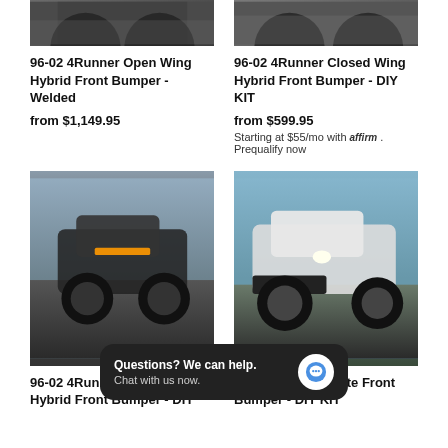[Figure (photo): Top partial view of 96-02 4Runner with off-road tires on rocky terrain - left product]
[Figure (photo): Top partial view of 96-02 4Runner with off-road tires - right product]
96-02 4Runner Open Wing Hybrid Front Bumper - Welded
from $1,149.95
96-02 4Runner Closed Wing Hybrid Front Bumper - DIY KIT
from $599.95
Starting at $55/mo with affirm . Prequalify now
[Figure (photo): 96-02 4Runner with Open Wing Hybrid Front Bumper on rocks, off-road crawling scene]
[Figure (photo): 96-02 4Runner with Plate Front Bumper, white truck on rocky terrain]
96-02 4Runner Open Wing Hybrid Front Bumper - DIY
96-02 4Runner Plate Front Bumper - DIY KIT